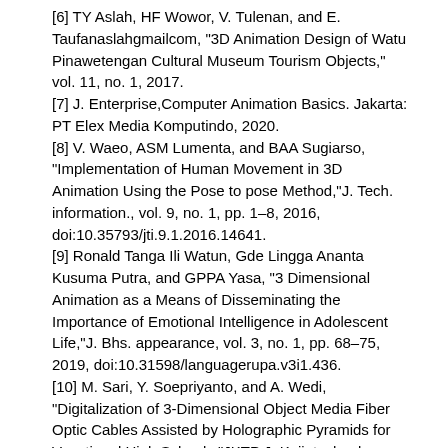[6] TY Aslah, HF Wowor, V. Tulenan, and E. Taufanaslahgmailcom, "3D Animation Design of Watu Pinawetengan Cultural Museum Tourism Objects," vol. 11, no. 1, 2017.
[7] J. Enterprise, Computer Animation Basics. Jakarta: PT Elex Media Komputindo, 2020.
[8] V. Waeo, ASM Lumenta, and BAA Sugiarso, "Implementation of Human Movement in 3D Animation Using the Pose to pose Method," J. Tech. information., vol. 9, no. 1, pp. 1–8, 2016, doi:10.35793/jti.9.1.2016.14641.
[9] Ronald Tanga Ili Watun, Gde Lingga Ananta Kusuma Putra, and GPPA Yasa, "3 Dimensional Animation as a Means of Disseminating the Importance of Emotional Intelligence in Adolescent Life," J. Bhs. appearance, vol. 3, no. 1, pp. 68–75, 2019, doi:10.31598/languagerupa.v3i1.436.
[10] M. Sari, Y. Soepriyanto, and A. Wedi, "Digitalization of 3-Dimensional Object Media Fiber Optic Cables Assisted by Holographic Pyramids for Vocational High Schools," JKTP J. Kaji. technol. educator., vol. 3, no. 4, pp. 366–376, 2020, doi:10.17977/um038v3i42020p366.
[11] I. Kurniawanet al., "Scientific Journal of Engineering Faculty LIMIT 'S Vol. 12 No. March 1, 2016 ANALYSIS AND